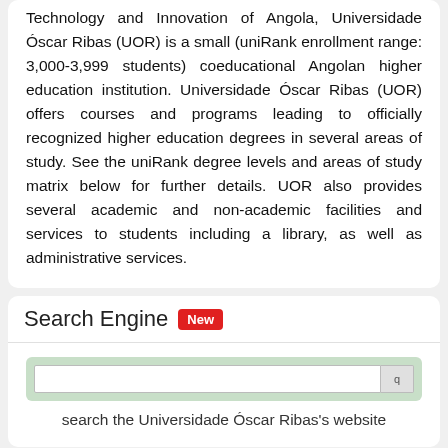Technology and Innovation of Angola, Universidade Óscar Ribas (UOR) is a small (uniRank enrollment range: 3,000-3,999 students) coeducational Angolan higher education institution. Universidade Óscar Ribas (UOR) offers courses and programs leading to officially recognized higher education degrees in several areas of study. See the uniRank degree levels and areas of study matrix below for further details. UOR also provides several academic and non-academic facilities and services to students including a library, as well as administrative services.
Search Engine New
search the Universidade Óscar Ribas's website